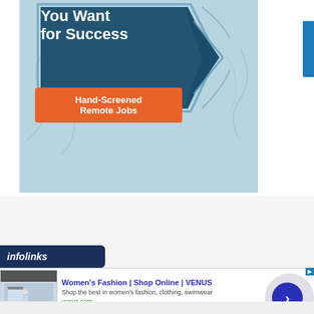[Figure (infographic): Advertisement banner with dark teal hexagon shape containing bold white text 'You Want for Success' and an orange CTA button labeled 'Hand-Screened Remote Jobs' on a light blue background]
[Figure (infographic): Infolinks advertisement overlay with logo bar and bottom ad unit for Women's Fashion Shop Online VENUS showing thumbnail, title, description and navigation button]
Women's Fashion | Shop Online | VENUS
Shop the best in women's fashion, clothing, swimwear
venus.com